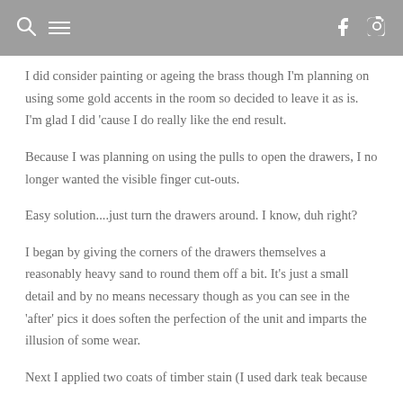[navigation bar with search, menu, facebook, pinterest, instagram icons]
I did consider painting or ageing the brass though I'm planning on using some gold accents in the room so decided to leave it as is. I'm glad I did 'cause I do really like the end result.
Because I was planning on using the pulls to open the drawers, I no longer wanted the visible finger cut-outs.
Easy solution....just turn the drawers around. I know, duh right?
I began by giving the corners of the drawers themselves a reasonably heavy sand to round them off a bit. It's just a small detail and by no means necessary though as you can see in the 'after' pics it does soften the perfection of the unit and imparts the illusion of some wear.
Next I applied two coats of timber stain (I used dark teak because